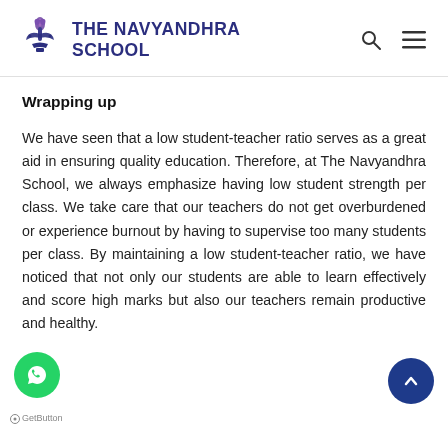THE NAVYANDHRA SCHOOL
Wrapping up
We have seen that a low student-teacher ratio serves as a great aid in ensuring quality education. Therefore, at The Navyandhra School, we always emphasize having low student strength per class. We take care that our teachers do not get overburdened or experience burnout by having to supervise too many students per class. By maintaining a low student-teacher ratio, we have noticed that not only our students are able to learn effectively and score high marks but also our teachers remain productive and healthy.